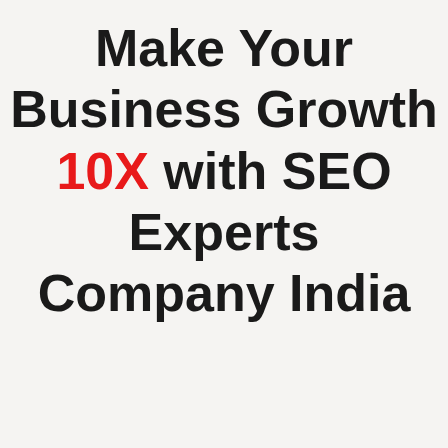Make Your Business Growth 10X with SEO Experts Company India